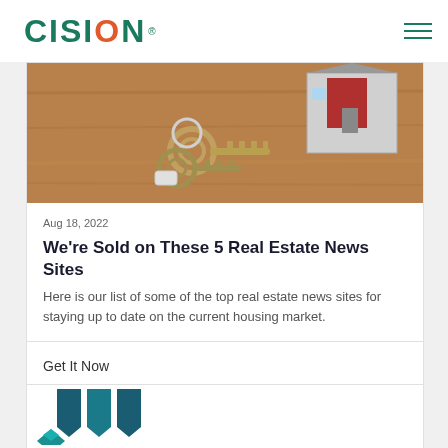CISION
[Figure (photo): Photo of house keys on a keychain on a wooden surface with a small model house in the background]
Aug 18, 2022
We're Sold on These 5 Real Estate News Sites
Here is our list of some of the top real estate news sites for staying up to date on the current housing market.
Get It Now
[Figure (logo): Partial view of icons at bottom of page — dark teal shield/bookmark shapes and a diamond/layered shape]